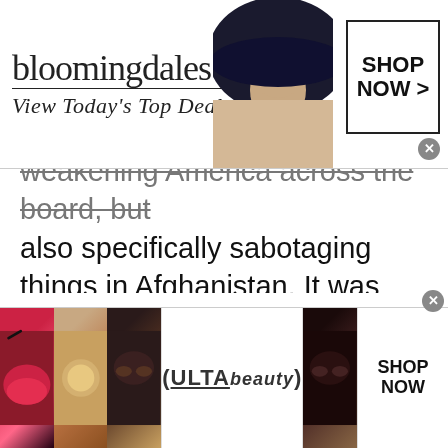[Figure (screenshot): Bloomingdale's advertisement banner at top: logo text 'bloomingdales', tagline 'View Today's Top Deals!', model in large hat, 'SHOP NOW >' button in box]
weakening America across the board, but also specifically sabotaging things in Afghanistan. It was Trump who released thousands of prisoners back to the Taliban, who are now taking over the country. It was Trump who set up our departure from Afghanistan to be precisely as ugly as Vladimir Putin wanted it to be. And of course it was Trump who cut the U.S. presence in Afghani [Help Palmer] , but then declined to actually complete the final
[Figure (screenshot): Ulta Beauty advertisement banner at bottom with makeup/beauty images and 'SHOP NOW' button]